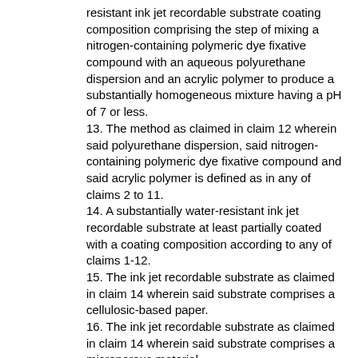resistant ink jet recordable substrate coating composition comprising the step of mixing a nitrogen-containing polymeric dye fixative compound with an aqueous polyurethane dispersion and an acrylic polymer to produce a substantially homogeneous mixture having a pH of 7 or less.
13. The method as claimed in claim 12 wherein said polyurethane dispersion, said nitrogen-containing polymeric dye fixative compound and said acrylic polymer is defined as in any of claims 2 to 11.
14. A substantially water-resistant ink jet recordable substrate at least partially coated with a coating composition according to any of claims 1-12.
15. The ink jet recordable substrate as claimed in claim 14 wherein said substrate comprises a cellulosic-based paper.
16. The ink jet recordable substrate as claimed in claim 14 wherein said substrate comprises a microporous material.
17. The ink jet recordable substrate as claimed in claim 14 wherein said substrate